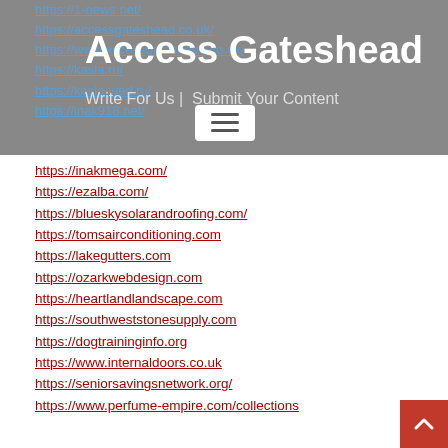Access Gateshead | Write For Us | Submit Your Content
https://1-news.net/
https://accessgateshead.co.uk/
https://www.accessgateshead.co.uk/
https://kasla.ru/
https://kasla-wed.ru/
https://inak918.net/
https://inakmega.com/
https://ezalba.com/
https://blueskysolarandroofing.com/
https://tomsairconditioning.com
https://lakegutters.com
https://ozarkwebdesign.com
https://heartlandlandscape.com
https://southweststonesupply.com
https://dogtraininginfo.org
https://www.internaldoors.co.uk
https://seniorsavingsnetwork.org/
https://www.perfume-empire.com/collections